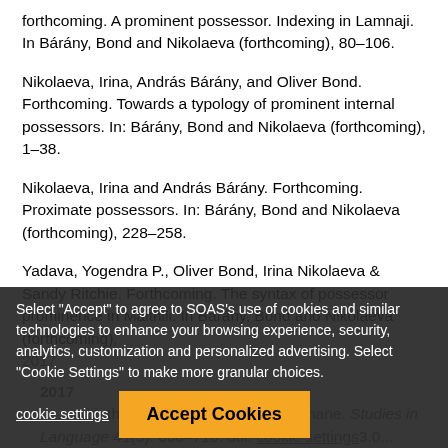Forthcoming. A prominent possessor. Indexing in Lamnaji. In Bárány, Bond and Nikolaeva (forthcoming), 80–106.
Nikolaeva, Irina, András Bárány, and Oliver Bond. Forthcoming. Towards a typology of prominent internal possessors. In: Bárány, Bond and Nikolaeva (forthcoming), 1–38.
Nikolaeva, Irina and András Bárány. Forthcoming. Proximate possessors. In: Bárány, Bond and Nikolaeva (forthcoming), 228–258.
Yadava, Yogendra P., Oliver Bond, Irina Nikolaeva & Sandy Ritchie. Forthcoming. The syntax of possessor prominence in Maithili. In Bárány, Bond and Nikolaeva (forthcoming),
2017
2017 ... with the internal possessor in Chimane. Studies in Language 41(3): 660–716. doi: ...3.0...
Select "Accept" to agree to SOAS's use of cookies and similar technologies to enhance your browsing experience, security, analytics, customization and personalized advertising. Select "Cookie Settings" to make more granular choices.